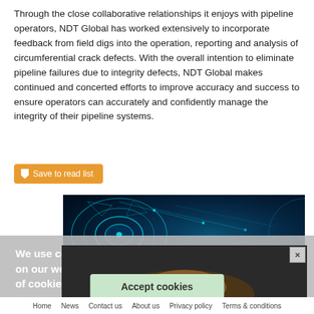Through the close collaborative relationships it enjoys with pipeline operators, NDT Global has worked extensively to incorporate feedback from field digs into the operation, reporting and analysis of circumferential crack defects. With the overall intention to eliminate pipeline failures due to integrity defects, NDT Global makes continued and concerted efforts to improve accuracy and success to ensure operators can accurately and confidently manage the integrity of their pipeline systems.
[Figure (screenshot): Orange 'Save to read list' button with bookmark icon]
[Figure (photo): Digital/technological illustration of a pipeline with glowing blue network connections and geometric patterns on dark background]
We use cookies to ensure you get the best experience on our website. By using the site, you agree to the use of cookies. Learn more
[Figure (screenshot): Advertisement banner overlapping the cookie notice area with a close X button]
Accept cookies
Home   News   Contact us   About us   Privacy policy   Terms & conditions